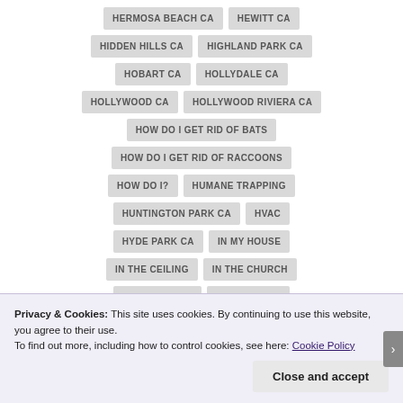HERMOSA BEACH CA
HEWITT CA
HIDDEN HILLS CA
HIGHLAND PARK CA
HOBART CA
HOLLYDALE CA
HOLLYWOOD CA
HOLLYWOOD RIVIERA CA
HOW DO I GET RID OF BATS
HOW DO I GET RID OF RACCOONS
HOW DO I?
HUMANE TRAPPING
HUNTINGTON PARK CA
HVAC
HYDE PARK CA
IN MY HOUSE
IN THE CEILING
IN THE CHURCH
IN THE OFFICE
INDUSTRY CA
Privacy & Cookies: This site uses cookies. By continuing to use this website, you agree to their use.
To find out more, including how to control cookies, see here: Cookie Policy
Close and accept